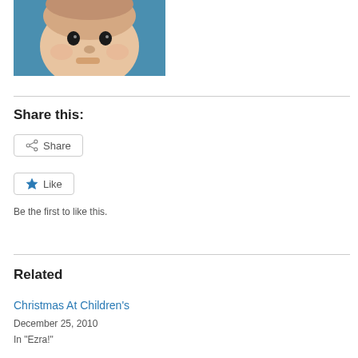[Figure (photo): Close-up photo of a baby's face against a blue background]
Share this:
Share
Like
Be the first to like this.
Related
Christmas At Children's
December 25, 2010
In "Ezra!"